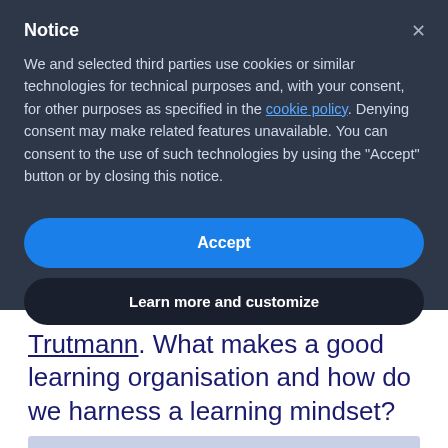Notice
We and selected third parties use cookies or similar technologies for technical purposes and, with your consent, for other purposes as specified in the cookie policy. Denying consent may make related features unavailable. You can consent to the use of such technologies by using the "Accept" button or by closing this notice.
Accept
Learn more and customize
Trutmann. What makes a good learning organisation and how do we harness a learning mindset?